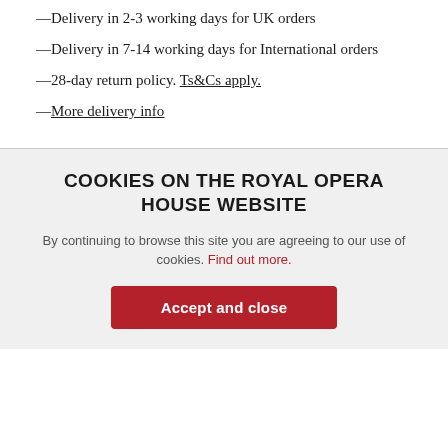—Delivery in 2-3 working days for UK orders
—Delivery in 7-14 working days for International orders
—28-day return policy. Ts&Cs apply.
—More delivery info
COOKIES ON THE ROYAL OPERA HOUSE WEBSITE
By continuing to browse this site you are agreeing to our use of cookies. Find out more.
Accept and close